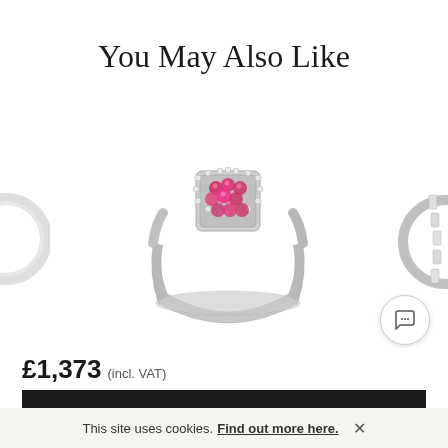You May Also Like
[Figure (photo): Three jewelry rings displayed side by side on white background. Left: partial view of a silver ring. Center: silver ring with pink/ruby gemstone cluster in a square halo setting with small diamonds around it. Right: partial view of a silver ring with vertical diamond/crystal accents.]
£1,373 (incl. VAT)
ADD TO BAG
This site uses cookies. Find out more here. ×